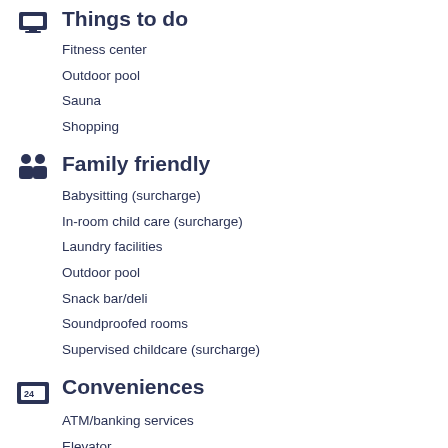Things to do
Fitness center
Outdoor pool
Sauna
Shopping
Family friendly
Babysitting (surcharge)
In-room child care (surcharge)
Laundry facilities
Outdoor pool
Snack bar/deli
Soundproofed rooms
Supervised childcare (surcharge)
Conveniences
ATM/banking services
Elevator